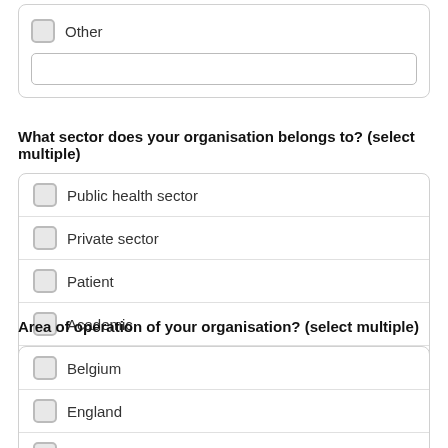Other
[text input field]
What sector does your organisation belongs to? (select multiple)
Public health sector
Private sector
Patient
Academic
Third sector/charity
Area of operation of your organisation? (select multiple)
Belgium
England
France